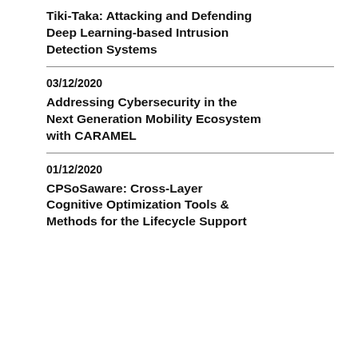Tiki-Taka: Attacking and Defending Deep Learning-based Intrusion Detection Systems
03/12/2020
Addressing Cybersecurity in the Next Generation Mobility Ecosystem with CARAMEL
01/12/2020
CPSoSaware: Cross-Layer Cognitive Optimization Tools & Methods for the Lifecycle Support